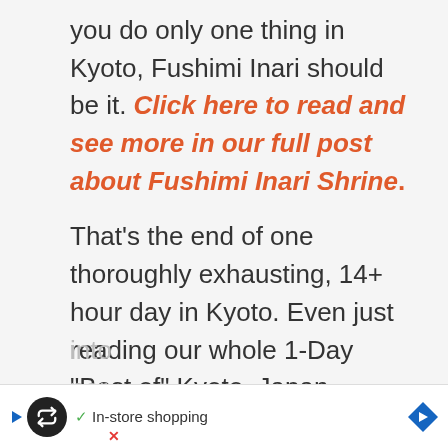you do only one thing in Kyoto, Fushimi Inari should be it. Click here to read and see more in our full post about Fushimi Inari Shrine.
That's the end of one thoroughly exhausting, 14+ hour day in Kyoto. Even just reading our whole 1-Day “Best of” Kyoto, Japan Itinerary was probably exhausting. Now think about actually doing all of that. As you can probably imagine, it’s necessary to cull a bit from the itinerary, and hopefully we’ve provided you the information necessary to condense this into... per...